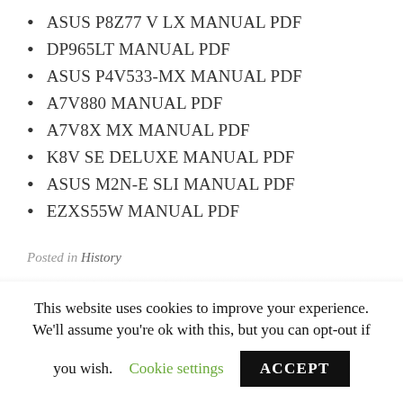ASUS P8Z77 V LX MANUAL PDF
DP965LT MANUAL PDF
ASUS P4V533-MX MANUAL PDF
A7V880 MANUAL PDF
A7V8X MX MANUAL PDF
K8V SE DELUXE MANUAL PDF
ASUS M2N-E SLI MANUAL PDF
EZXS55W MANUAL PDF
Posted in History
This website uses cookies to improve your experience. We'll assume you're ok with this, but you can opt-out if you wish.
Cookie settings
ACCEPT